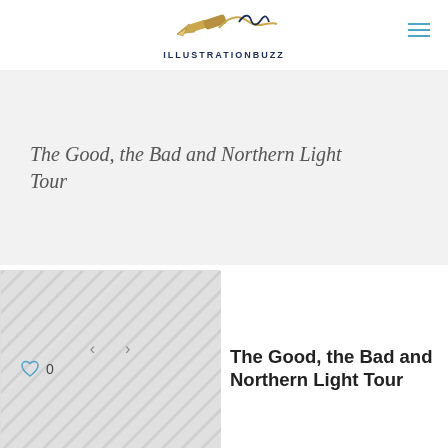iLLUSTRATIONBUZZ
The Good, the Bad and Northern Light Tour
[Figure (other): Image slider/gallery placeholder with left and right navigation arrows]
0
The Good, the Bad and Northern Light Tour